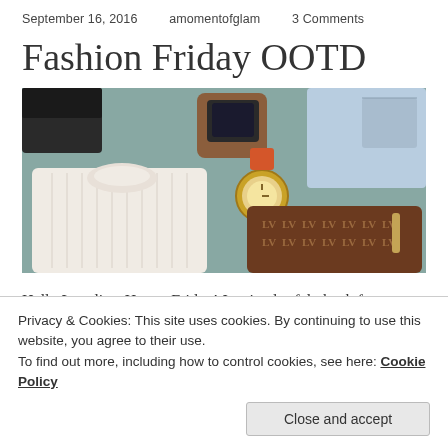September 16, 2016   amomentofglam   3 Comments
Fashion Friday OOTD
[Figure (photo): Flat lay photo showing a white ribbed turtleneck sweater, light blue denim jeans, a gold watch, and a Louis Vuitton monogram clutch bag arranged on a glass surface.]
Hello Lovelies, Happy Friday! I arrived safely back from my trip to Atlanta, and now that I'm back in the 6 (hey
Privacy & Cookies: This site uses cookies. By continuing to use this website, you agree to their use.
To find out more, including how to control cookies, see here: Cookie Policy
Close and accept